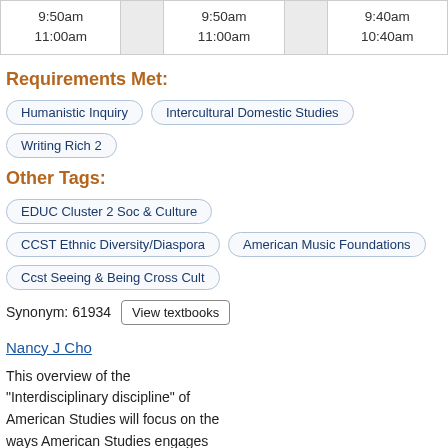| 9:50am
11:00am |  | 9:50am
11:00am |  | 9:40am
10:40am |
Requirements Met:
Humanistic Inquiry
Intercultural Domestic Studies
Writing Rich 2
Other Tags:
EDUC Cluster 2 Soc & Culture
CCST Ethnic Diversity/Diaspora
American Music Foundations
Ccst Seeing & Being Cross Cult
Synonym: 61934  View textbooks
Nancy J Cho
This overview of the "Interdisciplinary discipline" of American Studies will focus on the ways American Studies engages with and departs from other